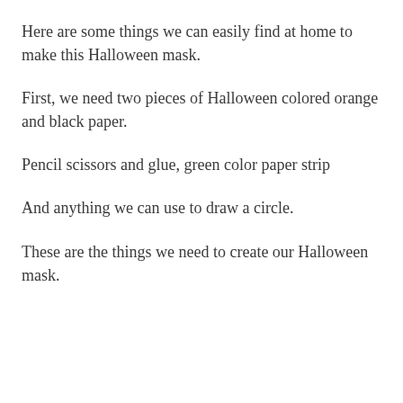Here are some things we can easily find at home to make this Halloween mask.
First, we need two pieces of Halloween colored orange and black paper.
Pencil scissors and glue, green color paper strip
And anything we can use to draw a circle.
These are the things we need to create our Halloween mask.